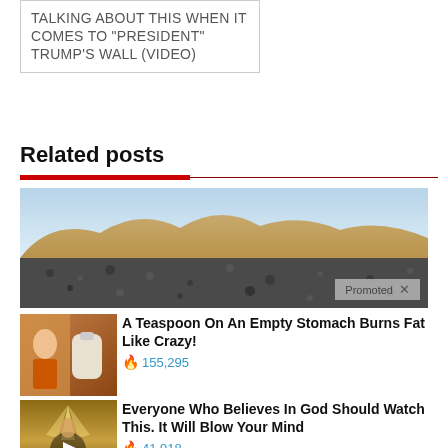TALKING ABOUT THIS WHEN IT COMES TO “PRESIDENT” TRUMP’S WALL (Video)
Related posts
[Figure (photo): Desert landscape with sand dunes and rocky ground under a blue sky, with a 'Promoted X' badge overlay]
A Teaspoon On An Empty Stomach Burns Fat Like Crazy! 🔥 155,295
[Figure (photo): Thumbnail of person with spice/food item]
Everyone Who Believes In God Should Watch This. It Will Blow Your Mind 🔥 41,918
[Figure (photo): Thumbnail of person with light, video play button overlay]